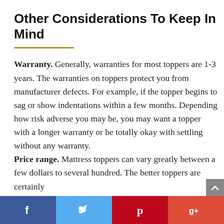Other Considerations To Keep In Mind
Warranty. Generally, warranties for most toppers are 1-3 years. The warranties on toppers protect you from manufacturer defects. For example, if the topper begins to sag or show indentations within a few months. Depending how risk adverse you may be, you may want a topper with a longer warranty or be totally okay with settling without any warranty. Price range. Mattress toppers can vary greatly between a few dollars to several hundred. The better toppers are certainly
Facebook Twitter Pinterest Google+